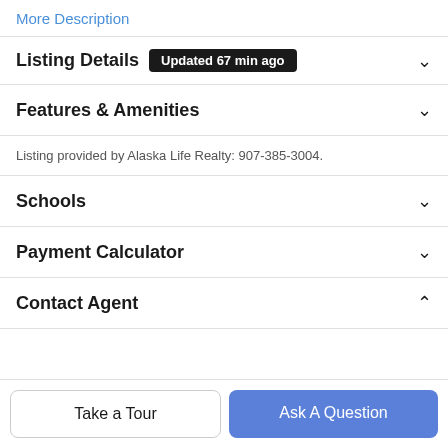More Description
Listing Details  Updated 67 min ago
Features & Amenities
Listing provided by Alaska Life Realty: 907-385-3004.
Schools
Payment Calculator
Contact Agent
Take a Tour
Ask A Question